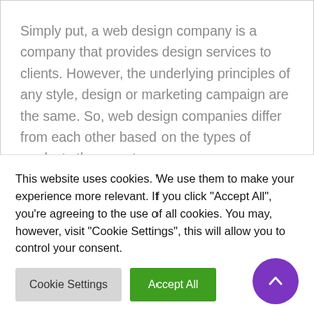Simply put, a web design company is a company that provides design services to clients. However, the underlying principles of any style, design or marketing campaign are the same. So, web design companies differ from each other based on the types of products they create.
Let's take a closer look at the basic elements of a web design company and how they come together to create your next website.
This website uses cookies. We use them to make your experience more relevant. If you click "Accept All", you're agreeing to the use of all cookies. You may, however, visit "Cookie Settings", this will allow you to control your consent.